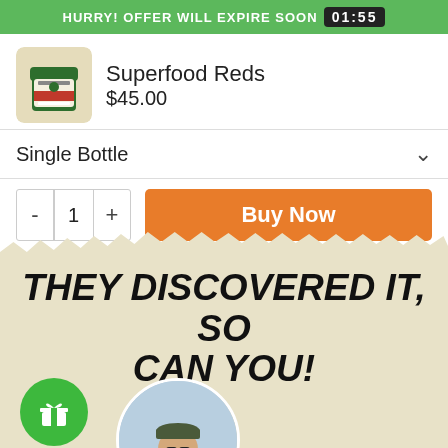HURRY! OFFER WILL EXPIRE SOON 01:55
[Figure (photo): Product image of Superfood Reds Blend jar]
Superfood Reds
$45.00
Single Bottle
- 1 + Buy Now
THEY DISCOVERED IT, SO CAN YOU!
[Figure (illustration): Green circle with gift box icon]
[Figure (photo): Circular photo of a man wearing sunglasses and a cap outdoors]